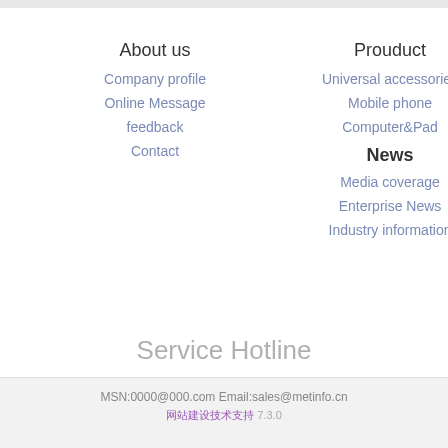About us
Company profile
Online Message
feedback
Contact
Prouduct
Universal accessories
Mobile phone
Computer&Pad
News
Media coverage
Enterprise News
Industry information
Service Hotline
100-000-0000
MSN:0000@000.com Email:sales@metinfo.cn
网站建设技术支持 7.3.0